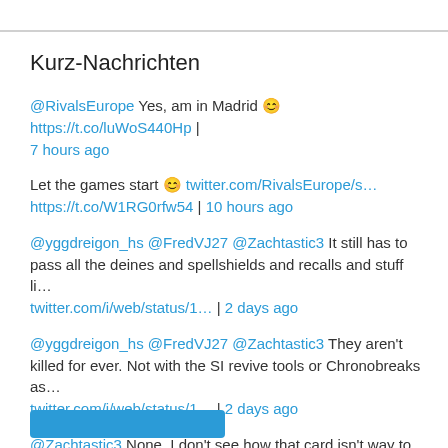Kurz-Nachrichten
@RivalsEurope Yes, am in Madrid 😊 https://t.co/luWoS440Hp | 7 hours ago
Let the games start 😊 twitter.com/RivalsEurope/s… https://t.co/W1RG0rfw54 | 10 hours ago
@yggdreigon_hs @FredVJ27 @Zachtastic3 It still has to pass all the deines and spellshields and recalls and stuff li… twitter.com/i/web/status/1… | 2 days ago
@yggdreigon_hs @FredVJ27 @Zachtastic3 They aren't killed for ever. Not with the SI revive tools or Chronobreaks as… twitter.com/i/web/status/1… | 2 days ago
@Zachtastic3 None. I don't see how that card isn't way to expensive while doing way to little slowly. Maybe if it'… twitter.com/i/web/status/1… | 2 days ago